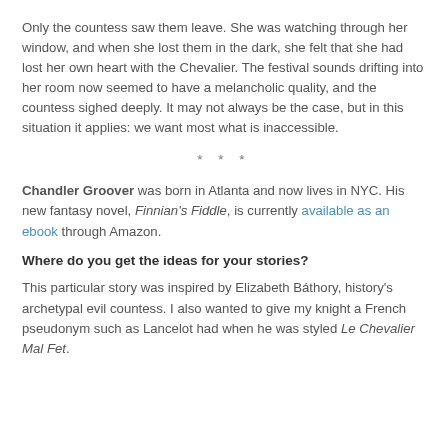Only the countess saw them leave. She was watching through her window, and when she lost them in the dark, she felt that she had lost her own heart with the Chevalier. The festival sounds drifting into her room now seemed to have a melancholic quality, and the countess sighed deeply. It may not always be the case, but in this situation it applies: we want most what is inaccessible.
* * *
Chandler Groover was born in Atlanta and now lives in NYC. His new fantasy novel, Finnian's Fiddle, is currently available as an ebook through Amazon.
Where do you get the ideas for your stories?
This particular story was inspired by Elizabeth Báthory, history's archetypal evil countess. I also wanted to give my knight a French pseudonym such as Lancelot had when he was styled Le Chevalier Mal Fet.